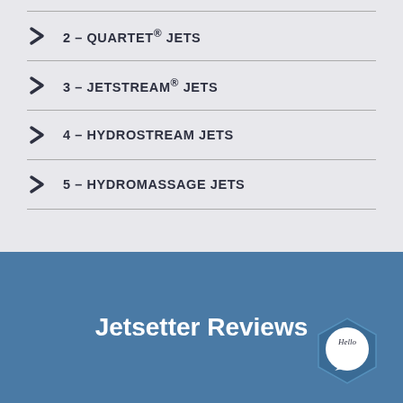2 – QUARTET® JETS
3 – JETSTREAM® JETS
4 – HYDROSTREAM JETS
5 – HYDROMASSAGE JETS
Jetsetter Reviews